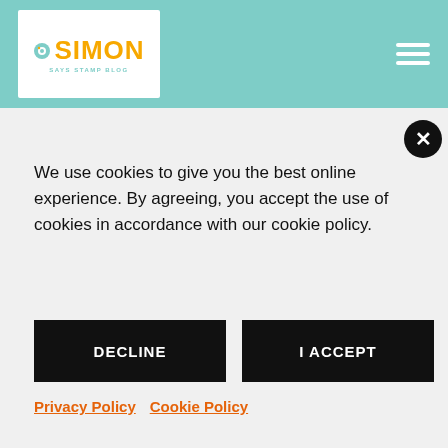Simon Says Stamp Blog
What cool cards! I love seeing everyone's card making skills and what they do with these stamps. Thanks.
Reply
We use cookies to give you the best online experience. By agreeing, you accept the use of cookies in accordance with our cookie policy.
DECLINE
I ACCEPT
Privacy Policy   Cookie Policy